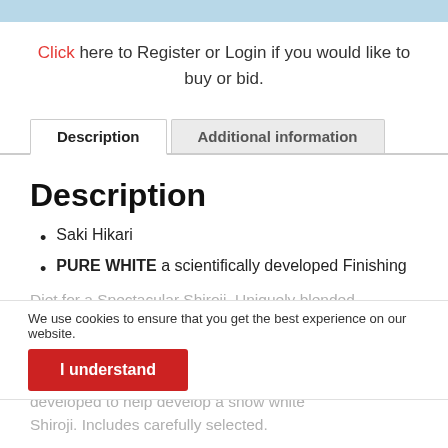Click here to Register or Login if you would like to buy or bid.
Description | Additional information
Description
Saki Hikari
PURE WHITE a scientifically developed Finishing Diet for a Spectacular Shiroji. Uniquely blended ingredients which helps koi develop that deep translucent white.
We use cookies to ensure that you get the best experience on our website.
I understand
developed to help develop a snow white Shiroji. Includes carefully selected.